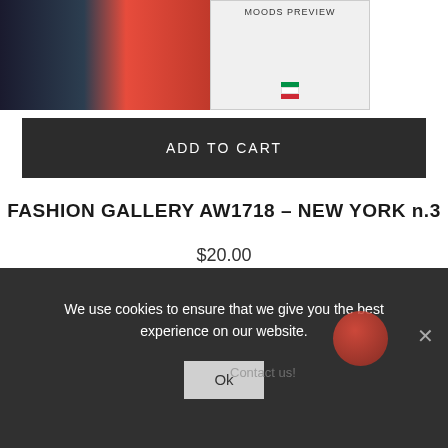[Figure (photo): Product thumbnail images: left side shows fashion photo on red carpet background, right side shows a magazine/catalog preview with Italian flag icon]
ADD TO CART
FASHION GALLERY AW1718 – NEW YORK n.3
$20.00
We use cookies to ensure that we give you the best experience on our website.
Ok
Contact us!